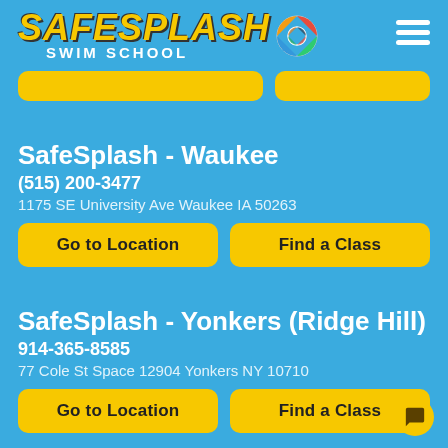[Figure (logo): SafeSplash Swim School logo with yellow italic text and colorful life ring icon]
SafeSplash - Waukee
(515) 200-3477
1175 SE University Ave Waukee IA 50263
Go to Location
Find a Class
SafeSplash - Yonkers (Ridge Hill)
914-365-8585
77 Cole St Space 12904 Yonkers NY 10710
Go to Location
Find a Class